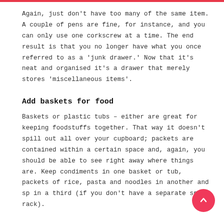Again, just don't have too many of the same item. A couple of pens are fine, for instance, and you can only use one corkscrew at a time. The end result is that you no longer have what you once referred to as a 'junk drawer.' Now that it's neat and organised it's a drawer that merely stores 'miscellaneous items'.
Add baskets for food
Baskets or plastic tubs – either are great for keeping foodstuffs together. That way it doesn't spill out all over your cupboard; packets are contained within a certain space and, again, you should be able to see right away where things are. Keep condiments in one basket or tub, packets of rice, pasta and noodles in another and sp... in a third (if you don't have a separate spice rack).